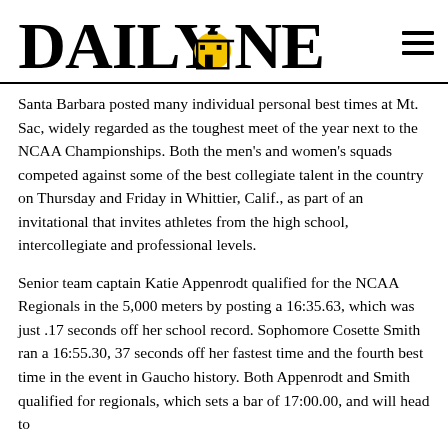DAILY NEXUS
Santa Barbara posted many individual personal best times at Mt. Sac, widely regarded as the toughest meet of the year next to the NCAA Championships. Both the men's and women's squads competed against some of the best collegiate talent in the country on Thursday and Friday in Whittier, Calif., as part of an invitational that invites athletes from the high school, intercollegiate and professional levels.
Senior team captain Katie Appenrodt qualified for the NCAA Regionals in the 5,000 meters by posting a 16:35.63, which was just .17 seconds off her school record. Sophomore Cosette Smith ran a 16:55.30, 37 seconds off her fastest time and the fourth best time in the event in Gaucho history. Both Appenrodt and Smith qualified for regionals, which sets a bar of 17:00.00, and will head to